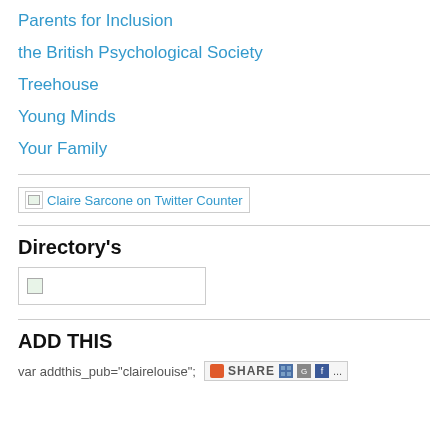Parents for Inclusion
the British Psychological Society
Treehouse
Young Minds
Your Family
[Figure (screenshot): Claire Sarcone on Twitter Counter badge/widget with broken image icon]
Directory's
[Figure (screenshot): Directory badge widget with broken image icon, rectangular border]
ADD THIS
var addthis_pub="clairelouise";
[Figure (screenshot): AddThis share button widget with icons for delicious, Google, Facebook and more]